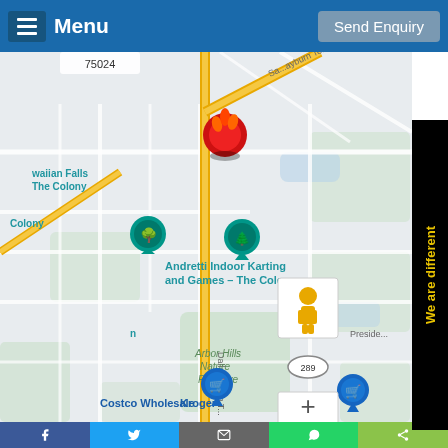Menu | Send Enquiry
[Figure (map): Google Maps screenshot showing area near The Colony, TX including Andretti Indoor Karting and Games, Arbor Hills Nature Preserve, Costco Wholesale, Kroger, and surrounding road network with Dallas North Tollway. A red location pin is visible near the top center of the map.]
We are different
Keyboard shortcuts  Map data ©2022 Google  Terms of Use
Facebook | Twitter | Email | WhatsApp | Share